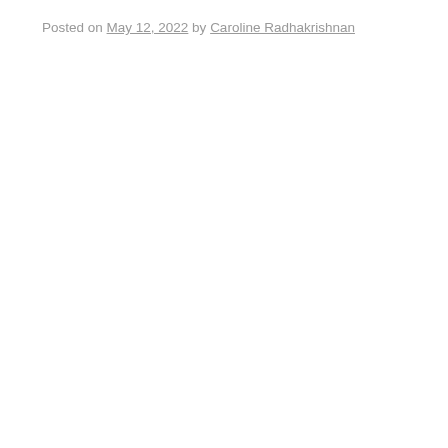Posted on May 12, 2022 by Caroline Radhakrishnan